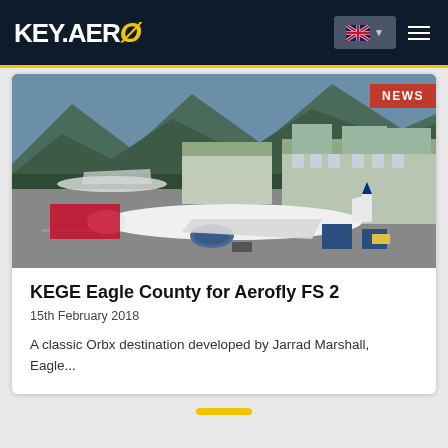KEY.AERO
[Figure (photo): Aerial view of Eagle County Airport (KEGE) with a Delta Airlines aircraft at gate, terminal buildings with green roofs, and mountains in the background. Flight simulator screenshot.]
KEGE Eagle County for Aerofly FS 2
15th February 2018
A classic Orbx destination developed by Jarrad Marshall, Eagle...